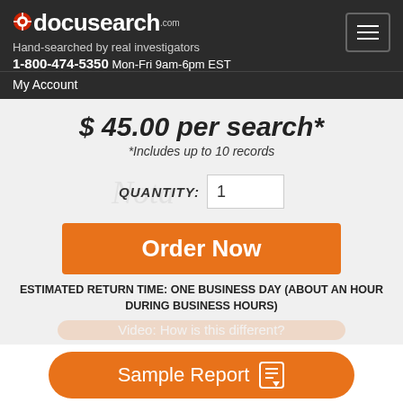docusearch.com — Hand-searched by real investigators — 1-800-474-5350 Mon-Fri 9am-6pm EST
My Account
$ 45.00 per search*
*Includes up to 10 records
QUANTITY: 1
Order Now
ESTIMATED RETURN TIME: ONE BUSINESS DAY (ABOUT AN HOUR DURING BUSINESS HOURS)
Sample Report
[Figure (logo): BBB A+ rating badge and Forbes Best of the Web award badge]
Get Help
Reviews